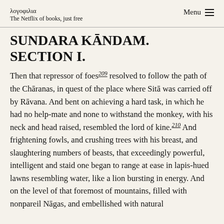λογοφιλια — The Netflix of books, just free | Menu
SUNDARA KĀNDAM. SECTION I.
Then that repressor of foes209 resolved to follow the path of the Chāranas, in quest of the place where Sitā was carried off by Rāvana. And bent on achieving a hard task, in which he had no help-mate and none to withstand the monkey, with his neck and head raised, resembled the lord of kine.210 And frightening fowls, and crushing trees with his breast, and slaughtering numbers of beasts, that exceedingly powerful, intelligent and staid one began to range at ease in lapis-hued lawns resembling water, like a lion bursting in energy. And on the level of that foremost of mountains, filled with nonpareil Nāgas, and embellished with natural